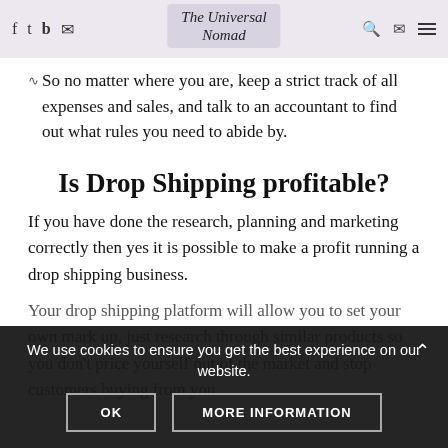The Universal Nomad — navigation header with social icons and logo
So no matter where you are, keep a strict track of all expenses and sales, and talk to an accountant to find out what rules you need to abide by.
Is Drop Shipping profitable?
If you have done the research, planning and marketing correctly then yes it is possible to make a profit running a drop shipping business.
Your drop shipping platform will allow you to set your own mark up, just research through similar products so you don't price yourself out of the market and stop customers buying from you.
We use cookies to ensure you get the best experience on our website.